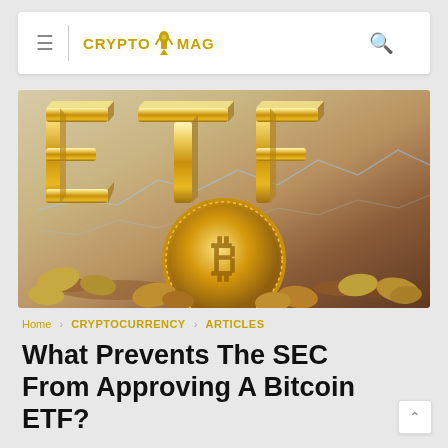CRYPTO MAG
[Figure (illustration): Hero image showing gold 3D block letters 'ETF' over a pile of gold Bitcoin coin and other coins, with a light blue financial chart line in the background. Warm golden-amber gradient background.]
Home > CRYPTOCURRENCY > ARTICLES
What Prevents The SEC From Approving A Bitcoin ETF?